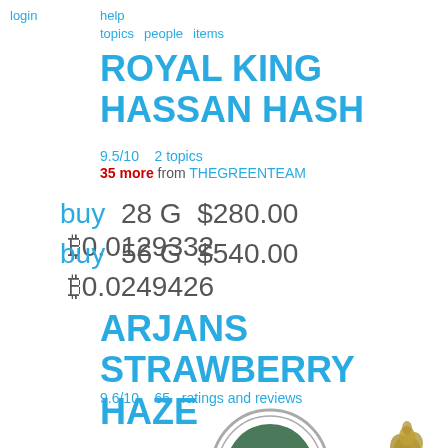login
help  topics  people  items
ROYAL KING HASSAN HASH
9.5/10   2 topics
35 more from THEGREENTEAM
buy  28 G  $280.00  ₿0.0129332
buy  56 G  $540.00  ₿0.0249426
ARJANS STRAWBERRY HAZE
9.6/10   65  ratings and reviews
[Figure (logo): The Green Team circular logo with TGT text in green circle]
[Figure (photo): Product photo of cannabis item]